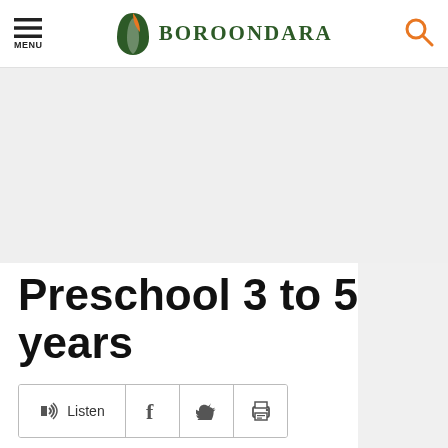MENU | BOROONDARA | Search
[Figure (other): Gray banner image area]
Preschool 3 to 5 years
[Figure (other): Action bar with Listen, Facebook, Twitter, and Print buttons]